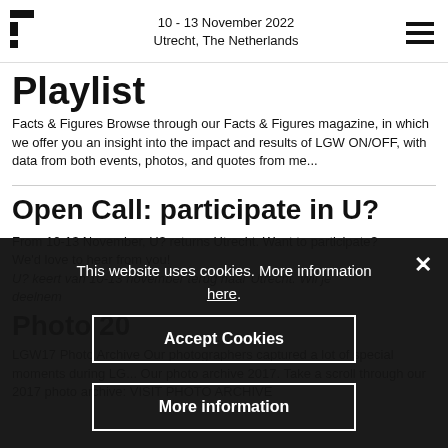10 - 13 November 2022 Utrecht, The Netherlands
Playlist
Facts & Figures Browse through our Facts & Figures magazine, in which we offer you an insight into the impact and results of LGW ON/OFF, with data from both events, photos, and quotes from me...
Open Call: participate in U?
From 10-13 November, U? returns Utrecht. Want to participate? We'd love to hear from you!
U? keert van 10-13 november terug naar Utrecht. Wil je deelnem...
Photo 20...
LGW17 Photo Archive Our photographers captured a lot of special moments during LGW. Our photo archive 2017. Take a scroll through our 2017 photo archive: VISIT PHOTO ARCHIVE
This website uses cookies. More information here.